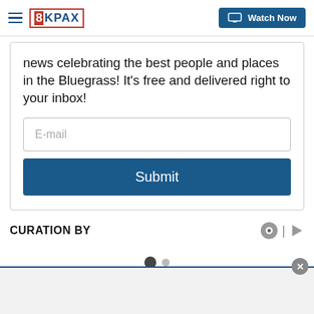8KPAX | Watch Now
news celebrating the best people and places in the Bluegrass! It's free and delivered right to your inbox!
E-mail
Submit
CURATION BY